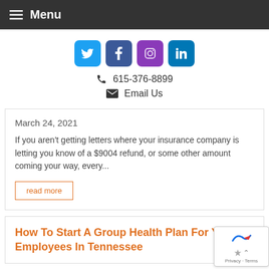Menu
[Figure (infographic): Social media icons: Twitter, Facebook, Instagram, LinkedIn]
615-376-8899
Email Us
March 24, 2021
If you aren't getting letters where your insurance company is letting you know of a $9004 refund, or some other amount coming your way, every...
read more
How To Start A Group Health Plan For Your Employees In Tennessee